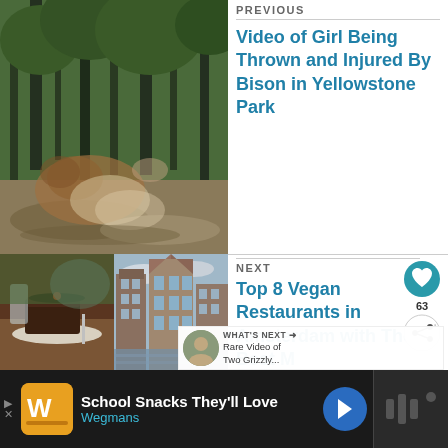PREVIOUS
[Figure (photo): Blurry photo of a bison in a forest clearing with trees in background]
Video of Girl Being Thrown and Injured By Bison in Yellowstone Park
[Figure (photo): Two side-by-side photos: left shows chocolate cake/brownie on a plate, right shows Amsterdam canal houses with tall narrow buildings]
NEXT
Top 8 Vegan Restaurants in Amsterdam with The Best M
[Figure (other): What's next widget showing a small circular avatar photo of a woman and text: Rare Video of Two Grizzly...]
WHAT'S NEXT → Rare Video of Two Grizzly...
63
School Snacks They'll Love  Wegmans